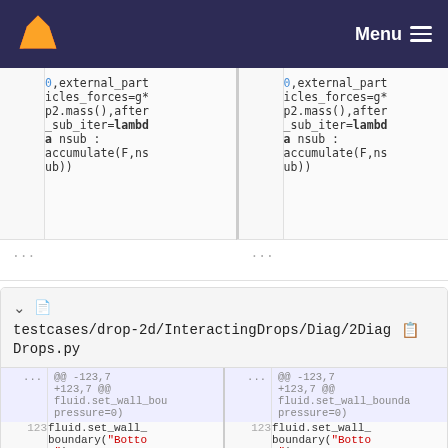GitLab — Menu
0,external_part
icles_forces=g*
p2.mass(),after
_sub_iter=lambda nsub :
accumulate(F,nsub))
0,external_part
icles_forces=g*
p2.mass(),after
_sub_iter=lambda nsub :
accumulate(F,nsub))
testcases/drop-2d/InteractingDrops/Diag/2DiagDrops.py
@@ -123,7 +123,7 @@ fluid.set_wall_bou pressure=0)
123 fluid.set_wall_boundary("Bottom")
@@ -123,7 +123,7 @@ fluid.set_wall_bounda pressure=0)
123 fluid.set_wall_boundary("Bottom")
124 fluid.set_wall_
124 fluid.set_wall_